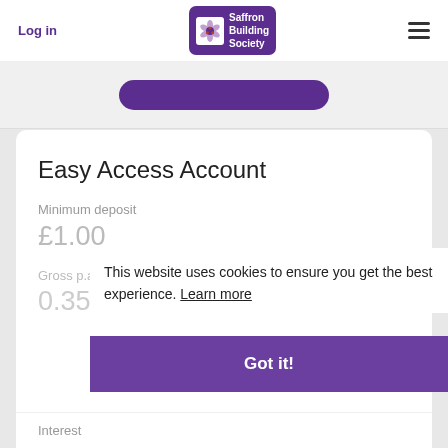Log in | Saffron Building Society
Easy Access Account
Minimum deposit
£1.00
Gross p.a / AER*
0.35%
This website uses cookies to ensure you get the best experience. Learn more
Got it!
Interest